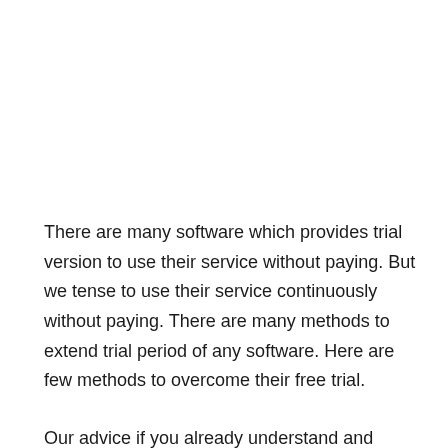There are many software which provides trial version to use their service without paying. But we tense to use their service continuously without paying. There are many methods to extend trial period of any software. Here are few methods to overcome their free trial.
Our advice if you already understand and know its performance please buy the software original in order to